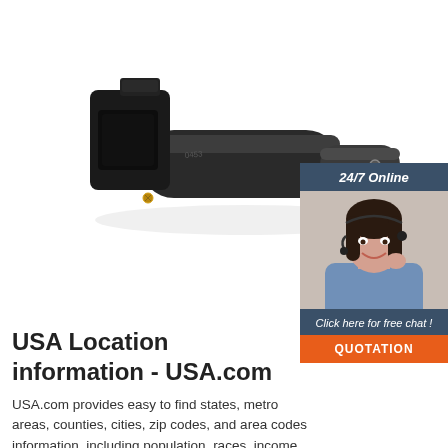[Figure (photo): Black industrial electrical connector/plug component, side view, showing rectangular socket end and cylindrical barrel body with screw detail]
[Figure (photo): 24/7 Online chat advertisement box with woman wearing headset smiling, dark blue-gray header and footer, orange QUOTATION button]
USA Location information - USA.com
USA.com provides easy to find states, metro areas, counties, cities, zip codes, and area codes information, including population, races, income, housing, school ...